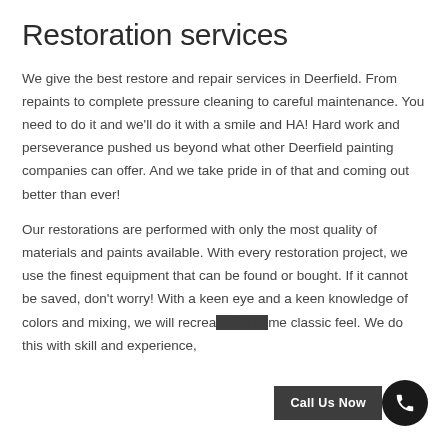Restoration services
We give the best restore and repair services in Deerfield. From repaints to complete pressure cleaning to careful maintenance. You need to do it and we'll do it with a smile and HA! Hard work and perseverance pushed us beyond what other Deerfield painting companies can offer. And we take pride in of that and coming out better than ever!
Our restorations are performed with only the most quality of materials and paints available. With every restoration project, we use the finest equipment that can be found or bought. If it cannot be saved, don't worry! With a keen eye and a keen knowledge of colors and mixing, we will recreate the same classic feel. We do this with skill and experience,